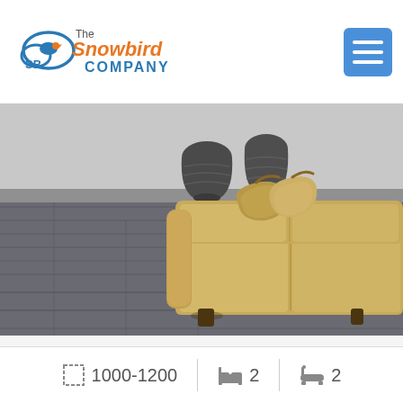[Figure (logo): The Snowbird Company logo with stylized bird/cloud icon in blue and orange]
[Figure (photo): Interior living room photo showing a tan/beige leather sofa with decorative pillows, dark hardwood flooring, and metallic vases in the background]
1000-1200  2  2